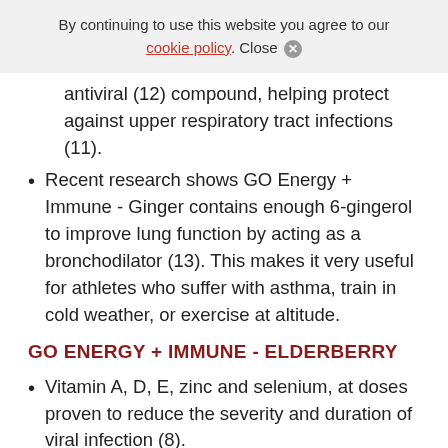By continuing to use this website you agree to our cookie policy. Close ✕
antiviral (12) compound, helping protect against upper respiratory tract infections (11).
Recent research shows GO Energy + Immune - Ginger contains enough 6-gingerol to improve lung function by acting as a bronchodilator (13). This makes it very useful for athletes who suffer with asthma, train in cold weather, or exercise at altitude.
GO ENERGY + IMMUNE - ELDERBERRY
Vitamin A, D, E, zinc and selenium, at doses proven to reduce the severity and duration of viral infection (8).